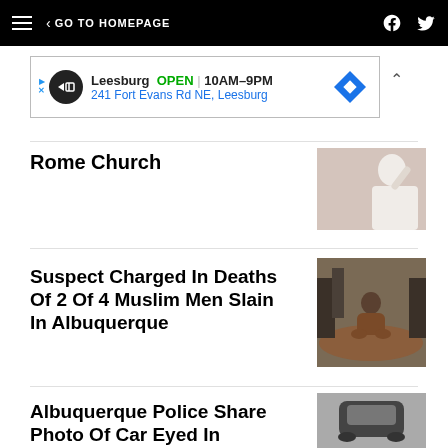GO TO HOMEPAGE
[Figure (screenshot): Advertisement banner: Leesburg OPEN 10AM-9PM, 241 Fort Evans Rd NE, Leesburg]
Rome Church
[Figure (photo): Person in white clothing waving hand]
Suspect Charged In Deaths Of 2 Of 4 Muslim Men Slain In Albuquerque
[Figure (photo): Man crouching and grieving at a burial site surrounded by people]
Albuquerque Police Share Photo Of Car Eyed In Slayings Of Muslim Men
[Figure (photo): Aerial view of a dark sedan car]